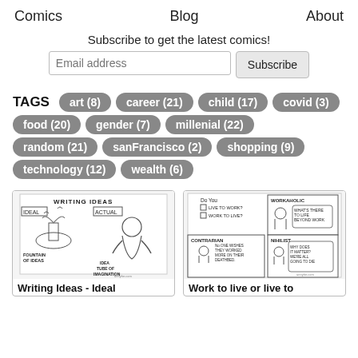Comics   Blog   About
Subscribe to get the latest comics!
Email address   Subscribe
TAGS
art (8)
career (21)
child (17)
covid (3)
food (20)
gender (7)
millenial (22)
random (21)
sanFrancisco (2)
shopping (9)
technology (12)
wealth (6)
[Figure (illustration): Comic titled 'Writing Ideas' showing IDEAL (fountain of ideas with birds) vs ACTUAL (idea tube of imagination with a hunched figure). Signed annyhe.com]
Writing Ideas - Ideal
[Figure (illustration): Comic with checkboxes asking 'Do you live to work? Work to live?' with four character types: WORKAHOLIC ('What's there to life beyond work'), CONTRARIAN ('No one wishes they worked more on their deathbed'), NIHILIST ('Why does it matter? We're all going to die'). Signed annyhe.com]
Work to live or live to